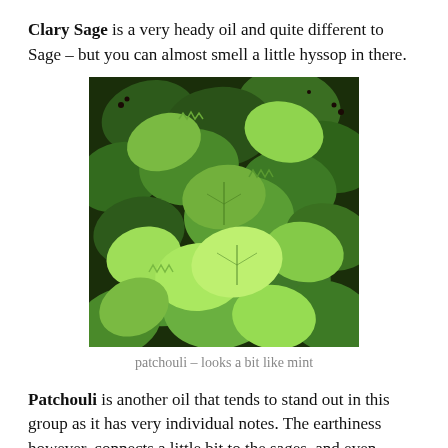Clary Sage is a very heady oil and quite different to Sage – but you can almost smell a little hyssop in there.
[Figure (photo): Close-up photograph of patchouli plant with dense green leaves resembling mint]
patchouli – looks a bit like mint
Patchouli is another oil that tends to stand out in this group as it has very individual notes. The earthiness however, connects a little bit to the sages, and even thyme.